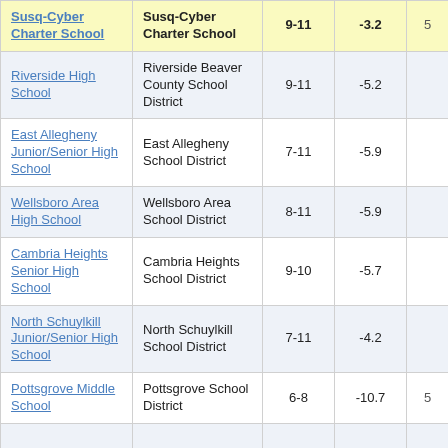| School | District | Grades | Score |  |
| --- | --- | --- | --- | --- |
| Susq-Cyber Charter School | Susq-Cyber Charter School | 9-11 | -3.2 | 5 |
| Riverside High School | Riverside Beaver County School District | 9-11 | -5.2 |  |
| East Allegheny Junior/Senior High School | East Allegheny School District | 7-11 | -5.9 |  |
| Wellsboro Area High School | Wellsboro Area School District | 8-11 | -5.9 |  |
| Cambria Heights Senior High School | Cambria Heights School District | 9-10 | -5.7 |  |
| North Schuylkill Junior/Senior High School | North Schuylkill School District | 7-11 | -4.2 |  |
| Pottsgrove Middle School | Pottsgrove School District | 6-8 | -10.7 | 5 |